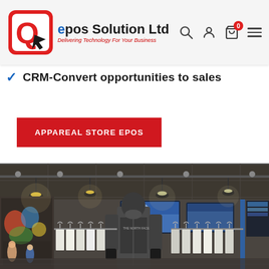epos Solution Ltd — Delivering Technology For Your Business
CRM-Convert opportunities to sales
APPAREAL STORE EPOS
[Figure (photo): Interior of an apparel retail store with mannequins wearing hooded jackets, clothes hanging on racks, track lighting from ceiling, and digital display screens in background.]